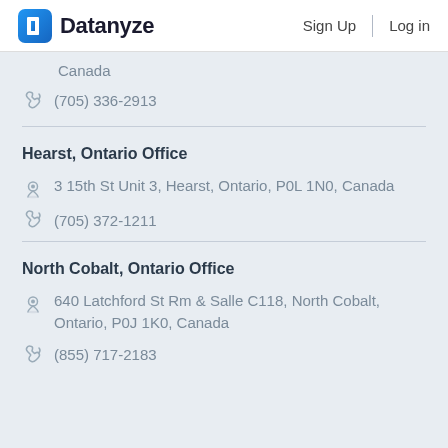Datanyze  Sign Up  Log in
Canada
(705) 336-2913
Hearst, Ontario Office
3 15th St Unit 3, Hearst, Ontario, P0L 1N0, Canada
(705) 372-1211
North Cobalt, Ontario Office
640 Latchford St Rm & Salle C118, North Cobalt, Ontario, P0J 1K0, Canada
(855) 717-2183